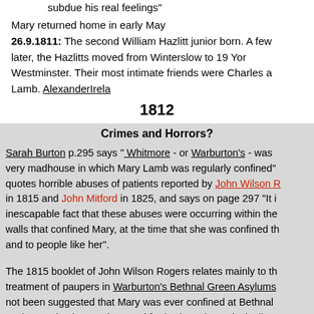subdue his real feelings"
Mary returned home in early May
26.9.1811: The second William Hazlitt junior born. A few later, the Hazlitts moved from Winterslow to 19 Yor Westminster. Their most intimate friends were Charles a Lamb. AlexanderIrel
1812
Crimes and Horrors?
Sarah Burton p.295 says " Whitmore - or Warburton's - was very madhouse in which Mary Lamb was regularly confined" quotes horrible abuses of patients reported by John Wilson R in 1815 and John Mitford in 1825, and says on page 297 "It inescapable fact that these abuses were occurring within the walls that confined Mary, at the time that she was confined th and to people like her".
The 1815 booklet of John Wilson Rogers relates mainly to th treatment of paupers in Warburton's Bethnal Green Asylums not been suggested that Mary was ever confined at Bethnal so the emphasis must be on Mitford, who writes principally a